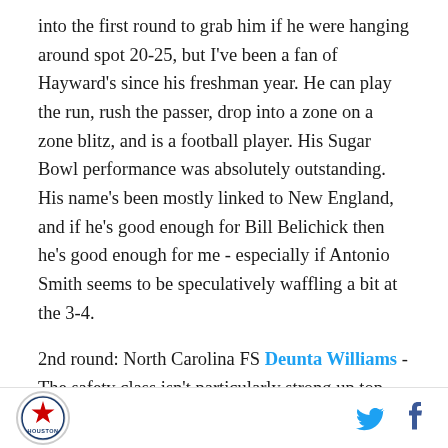into the first round to grab him if he were hanging around spot 20-25, but I've been a fan of Hayward's since his freshman year. He can play the run, rush the passer, drop into a zone on a zone blitz, and is a football player. His Sugar Bowl performance was absolutely outstanding. His name's been mostly linked to New England, and if he's good enough for Bill Belichick then he's good enough for me - especially if Antonio Smith seems to be speculatively waffling a bit at the 3-4.
2nd round: North Carolina FS Deunta Williams - The safety class isn't particularly strong up top, but Williams is a guy who's been mentioned in the late first round. If
Houston Texans logo, Twitter icon, Facebook icon